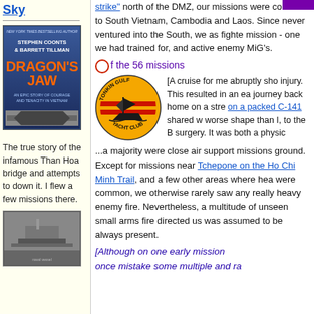Sky
[Figure (photo): Book cover: Dragon's Jaw by Stephen Coonts & Barrett Tillman - An Epic Story of Courage and Tenacity in Vietnam]
The true story of the infamous Than Hoa bridge and attempts to down it. I flew a few missions there.
[Figure (photo): Black and white photo of a naval vessel/ship]
strike" north of the DMZ, our missions were confined to South Vietnam, Cambodia and Laos. Since never ventured into the South, we as fighters mission - one we had trained for, and active enemy MiG's.
Of the 56 missions
[Figure (illustration): Tonkin Gulf Yacht Club circular badge/patch with a sailing junk ship silhouette on orange background with red stripes]
[A cruise for me abruptly sho injury. This resulted in an ea journey back home on a stre on a packed C-141 shared w worse shape than I, to the B surgery. It was both a physic
...a majority were close air support missions ground. Except for missions near Tchepone on the Ho Chi Minh Trail, and a few other areas where hea were common, we otherwise rarely saw any really heavy enemy fire. Nevertheless, a multitude of unseen small arms fire directed us was assumed to be always present.
[Although on one early mission once mistake some multiple and ra